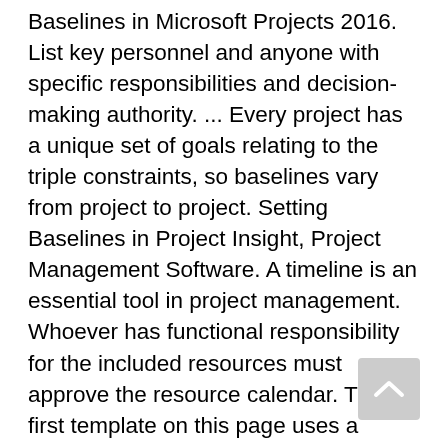Baselines in Microsoft Projects 2016. List key personnel and anyone with specific responsibilities and decision-making authority. ... Every project has a unique set of goals relating to the triple constraints, so baselines vary from project to project. Setting Baselines in Project Insight, Project Management Software. A timeline is an essential tool in project management. Whoever has functional responsibility for the included resources must approve the resource calendar. The first template on this page uses a stacked bar chart technique and ... This plan defines the standards against which you will judge the final outcome. Download our latest ebook to discover the top five challenges impacting your team's ability to get work done and 15 actionable tips to overcome these challenges. A dynamic Gantt chart can serve as a timeline for more complex projects. The following templates include sheets, widgets, and outlines that can help you present an overview of the project to stakeholders. This template offers a fill-in-the-blanks diagram and a task list template. Sections should not be removed from the presentation. This course of action